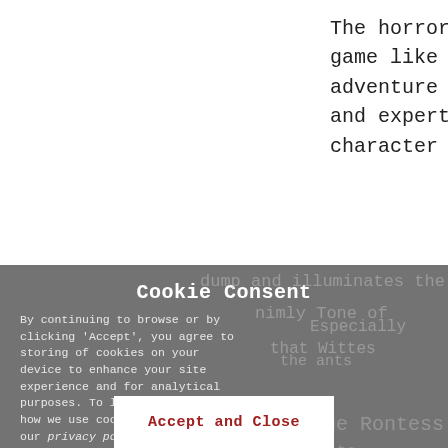The horror Lynx game to end all game like it (so far) and it's pond adventure title that looks so incr and expert storytelling abound in character is almost certainly arc
Cookie Consent
By continuing to browse or by clicking ‘Accept’, you agree to storing of cookies on your device to enhance your site experience and for analytical purposes. To learn more about how we use cookies, please see our privacy policy.
Accept and Close